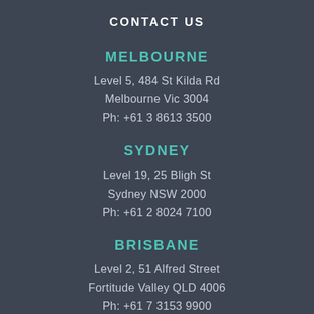CONTACT US
MELBOURNE
Level 5, 484 St Kilda Rd
Melbourne Vic 3004
Ph: +61 3 8613 3500
SYDNEY
Level 19, 25 Bligh St
Sydney NSW 2000
Ph: +61 2 8024 7100
BRISBANE
Level 2, 51 Alfred Street
Fortitude Valley QLD 4006
Ph: +61 7 3153 9900